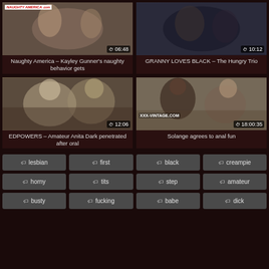[Figure (screenshot): Video thumbnail for Naughty America - Kayley Gunner with duration 06:48]
Naughty America – Kayley Gunner's naughty behavior gets
[Figure (screenshot): Video thumbnail for GRANNY LOVES BLACK - The Hungry Trio with duration 10:12]
GRANNY LOVES BLACK – The Hungry Trio
[Figure (screenshot): Video thumbnail for EDPOWERS - Amateur Anita Dark penetrated after oral with duration 12:06]
EDPOWERS – Amateur Anita Dark penetrated after oral
[Figure (screenshot): Video thumbnail for Solange agrees to anal fun with duration 18:00:35, watermark xxx-vintage.com]
Solange agrees to anal fun
lesbian
first
black
creampie
horny
tits
step
amateur
busty
fucking
babe
dick